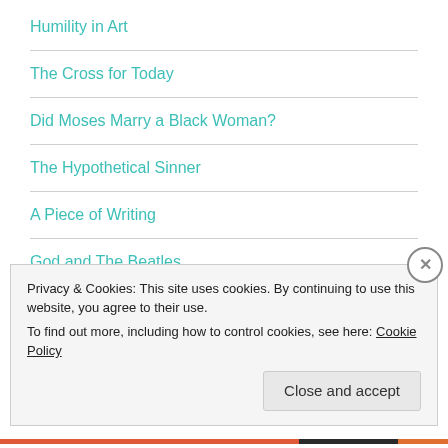Humility in Art
The Cross for Today
Did Moses Marry a Black Woman?
The Hypothetical Sinner
A Piece of Writing
God and The Beatles
Privacy & Cookies: This site uses cookies. By continuing to use this website, you agree to their use.
To find out more, including how to control cookies, see here: Cookie Policy
Close and accept